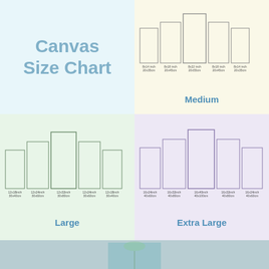Canvas Size Chart
[Figure (infographic): Medium 5-panel canvas size diagram: 8x14inch 20x35cm, 8x18inch 20x45cm, 8x22inch 20x55cm, 8x18inch 20x45cm, 8x14inch 20x35cm]
Medium
[Figure (infographic): Large 5-panel canvas size diagram: 12x18inch 30x40cm, 12x24inch 30x60cm, 12x32inch 30x80cm, 12x24inch 30x60cm, 12x18inch 30x40cm]
Large
[Figure (infographic): Extra Large 5-panel canvas size diagram: 16x24inch 40x60cm, 16x32inch 40x80cm, 16x40inch 40x100cm, 16x32inch 40x80cm, 16x24inch 40x60cm]
Extra Large
[Figure (photo): Photo of canvas art on wall with plant]